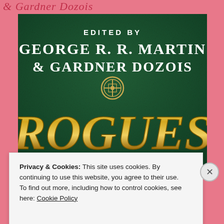& Gardner Dozois
[Figure (illustration): Book cover of 'Rogues' edited by George R. R. Martin & Gardner Dozois. Dark green textured background with white serif text at top reading 'EDITED BY GEORGE R. R. MARTIN & GARDNER DOZOIS', a decorative circular Celtic knot emblem in the center, and large gold metallic display text 'ROGUES' at the bottom.]
Privacy & Cookies: This site uses cookies. By continuing to use this website, you agree to their use.
To find out more, including how to control cookies, see here: Cookie Policy
Close and accept